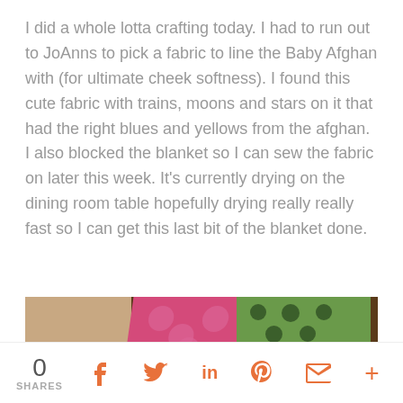I did a whole lotta crafting today. I had to run out to JoAnns to pick a fabric to line the Baby Afghan with (for ultimate cheek softness). I found this cute fabric with trains, moons and stars on it that had the right blues and yellows from the afghan. I also blocked the blanket so I can sew the fabric on later this week. It's currently drying on the dining room table hopefully drying really really fast so I can get this last bit of the blanket done.
[Figure (photo): Photo showing crafting materials on a wooden table: a pink polka-dot fabric piece in the middle, a green polka-dot fabric with a knitted/crocheted white blanket on the right, and a tan/skin-toned blurred area on the left.]
0 SHARES  f  (Twitter bird)  in  (Pinterest)  (Email)  +